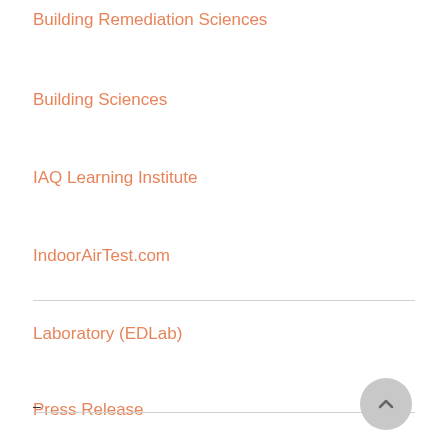Building Remediation Sciences
Building Sciences
IAQ Learning Institute
IndoorAirTest.com
Laboratory (EDLab)
Press Release
Pure-Steam
Uncategorized